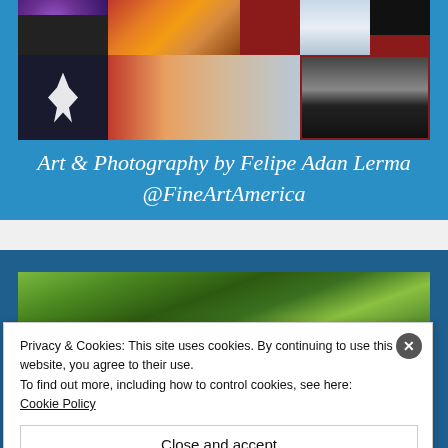[Figure (photo): Art collage banner showing multiple photos including purple flowers, a bird silhouette, sunset landscape, misty mountains, and black and white scene, on blue background with italic text 'Art & Photography by Felipe Adan Lerma @FineArtAmerica']
Art & Photography by Felipe Adan Lerma @FineArtAmerica
[Figure (photo): Second banner section with blue background showing green foliage photo and orange/black/orange strips at bottom]
Privacy & Cookies: This site uses cookies. By continuing to use this website, you agree to their use.
To find out more, including how to control cookies, see here:
Cookie Policy
Close and accept